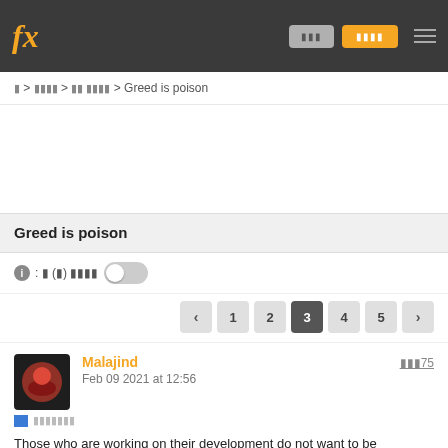fx — navigation header with logo, buttons, and menu
홈 > 포럼 > 트레이딩 심리 > Greed is poison
Greed is poison
ⓘ : 번 (©) 번역하기 (toggle)
Pagination: ‹ 1 2 3 4 5 ›
Malajind
Feb 09 2021 at 12:56
댓글75
Those who are working on their development do not want to be successful in trading, but they do not try to fight greed, because they understand how unsafe it is.